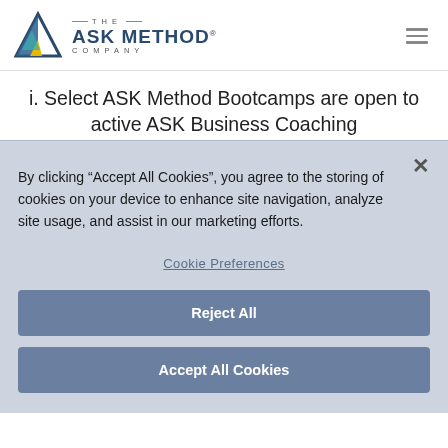[Figure (logo): The Ask Method Company logo with triangle icon and text]
i. Select ASK Method Bootcamps are open to active ASK Business Coaching
By clicking “Accept All Cookies”, you agree to the storing of cookies on your device to enhance site navigation, analyze site usage, and assist in our marketing efforts.
Cookie Preferences
Reject All
Accept All Cookies